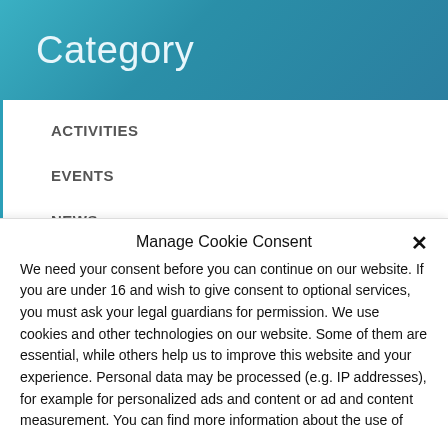Category
ACTIVITIES
EVENTS
NEWS
OPEN CALLS
OTHER INFORMATION
VOTES
Manage Cookie Consent
We need your consent before you can continue on our website. If you are under 16 and wish to give consent to optional services, you must ask your legal guardians for permission. We use cookies and other technologies on our website. Some of them are essential, while others help us to improve this website and your experience. Personal data may be processed (e.g. IP addresses), for example for personalized ads and content or ad and content measurement. You can find more information about the use of